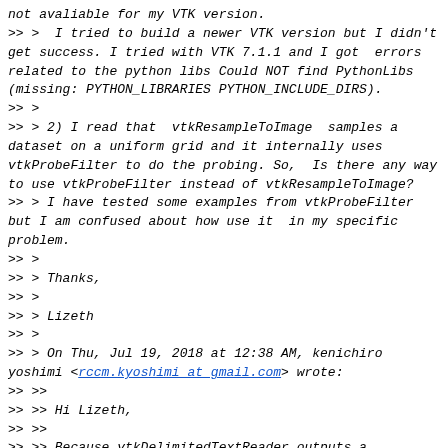not avaliable for my VTK version.
>> >  I tried to build a newer VTK version but I didn't get success. I tried with VTK 7.1.1 and I got  errors related to the python libs Could NOT find PythonLibs (missing: PYTHON_LIBRARIES PYTHON_INCLUDE_DIRS).
>> >
>> > 2) I read that  vtkResampleToImage  samples a dataset on a uniform grid and it internally uses vtkProbeFilter to do the probing. So,  Is there any way to use vtkProbeFilter instead of vtkResampleToImage?
>> > I have tested some examples from vtkProbeFilter but I am confused about how use it  in my specific problem.
>> >
>> > Thanks,
>> >
>> > Lizeth
>> >
>> > On Thu, Jul 19, 2018 at 12:38 AM, kenichiro yoshimi <rccm.kyoshimi at gmail.com> wrote:
>> >>
>> >> Hi Lizeth,
>> >>
>> >> Because vtkDelimitedTextReader outputs a vtkTable, you firstly need to
>> >> convert it to a vtkPolyData using vtkTableToPolyData. And then you can
>> >> use vtkResampleToImage to map the polyData to vtkImageData.
>> >>